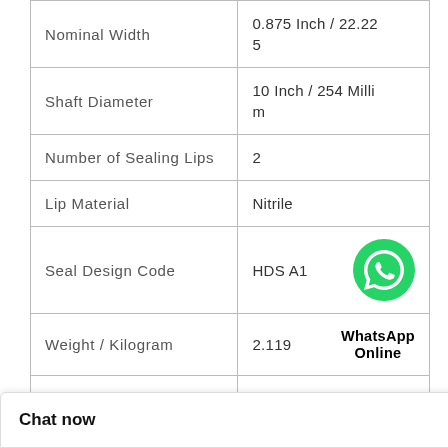| Property | Value |
| --- | --- |
| Nominal Width | 0.875 Inch / 22.225 |
| Shaft Diameter | 10 Inch / 254 Millim |
| Number of Sealing Lips | 2 |
| Lip Material | Nitrile |
| Seal Design Code | HDS A1 |
| Weight / Kilogram | 2.119 |
| Case Construction | Steel |
| Spring Loaded | Yes |
| Lip Retainer | Stainless Steel Gart |